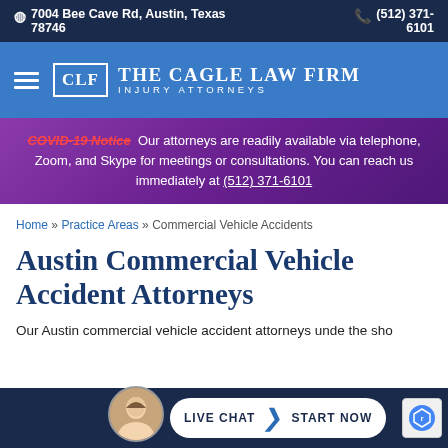7004 Bee Cave Rd, Austin, Texas 78746   (512) 371-6101
[Figure (logo): The Cagle Law Firm Injury Attorneys logo with CLF monogram in white box on blue navigation bar]
COVID-19 Notice  Our attorneys are readily available via telephone, Zoom, and Skype for meetings or consultations. You can reach us immediately at (512) 371-6101
Home » Practice Areas » Commercial Vehicle Accidents
Austin Commercial Vehicle Accident Attorneys
Our Austin commercial vehicle accident attorneys unde the sho...
LIVE CHAT  START NOW